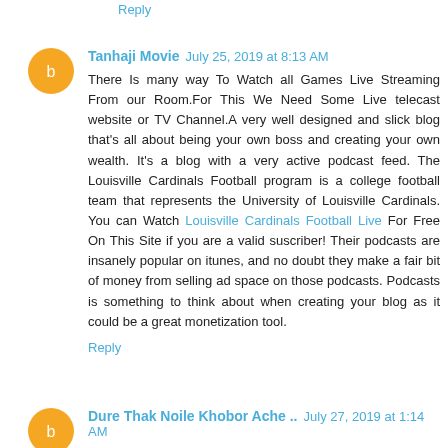Reply
Tanhaji Movie  July 25, 2019 at 8:13 AM
There Is many way To Watch all Games Live Streaming From our Room.For This We Need Some Live telecast website or TV Channel.A very well designed and slick blog that's all about being your own boss and creating your own wealth. It's a blog with a very active podcast feed. The Louisville Cardinals Football program is a college football team that represents the University of Louisville Cardinals. You can Watch Louisville Cardinals Football Live For Free On This Site if you are a valid suscriber! Their podcasts are insanely popular on itunes, and no doubt they make a fair bit of money from selling ad space on those podcasts. Podcasts is something to think about when creating your blog as it could be a great monetization tool.
Reply
Dure Thak Noile Khobor Ache ..  July 27, 2019 at 1:14 AM